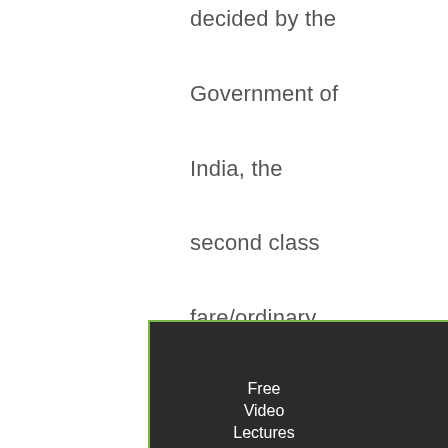decided by the Government of India, the second class fare/ordinary class bus fare from the city of their place of residence to the city in which the interviews for selection have been decided by the
[Figure (other): A dark popup/advertisement box with green border showing two columns: left column has 'Free Video Lectures of Pharmacy Exams Apply now', right column has 'M.Pharm Non GPAT Admission 2021 Apply now' and 'GPAT 2022 Toppers Scholarship Apply now'. A green close button (×) is at the top right of the popup.]